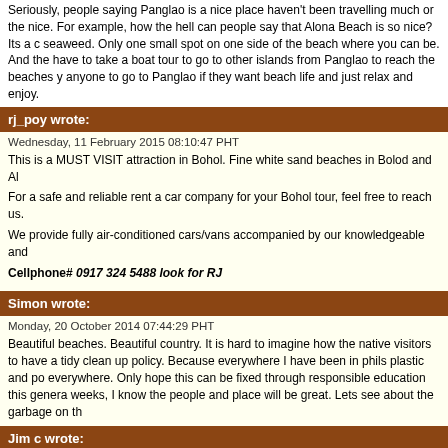Seriously, people saying Panglao is a nice place haven't been travelling much or the nice. For example, how the hell can people say that Alona Beach is so nice? Its a c seaweed. Only one small spot on one side of the beach where you can be. And the have to take a boat tour to go to other islands from Panglao to reach the beaches y anyone to go to Panglao if they want beach life and just relax and enjoy.
rj_poy wrote:
Wednesday, 11 February 2015 08:10:47 PHT
This is a MUST VISIT attraction in Bohol. Fine white sand beaches in Bolod and Al
For a safe and reliable rent a car company for your Bohol tour, feel free to reach us.
We provide fully air-conditioned cars/vans accompanied by our knowledgeable and
Cellphone# 0917 324 5488 look for RJ
Simon wrote:
Monday, 20 October 2014 07:44:29 PHT
Beautiful beaches. Beautiful country. It is hard to imagine how the native visitors to have a tidy clean up policy. Because everywhere I have been in phils plastic and po everywhere. Only hope this can be fixed through responsible education this genera weeks, I know the people and place will be great. Lets see about the garbage on th
Jim c wrote:
Wednesday, 23 July 2014 13:49:38 PHT
I have been to alona beach twice this year,,,and never saw any rubbish dumped. wh and walk past all the cafe's etc and you will not find any rubbish. can I ask you roge beach.
Read all 243 comments by readers.